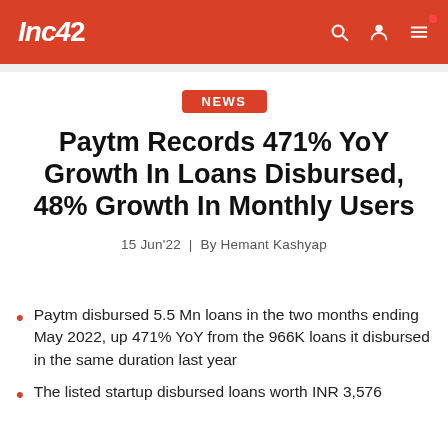Inc42
NEWS
Paytm Records 471% YoY Growth In Loans Disbursed, 48% Growth In Monthly Users
15 Jun'22 | By Hemant Kashyap
Paytm disbursed 5.5 Mn loans in the two months ending May 2022, up 471% YoY from the 966K loans it disbursed in the same duration last year
The listed startup disbursed loans worth INR 3,576